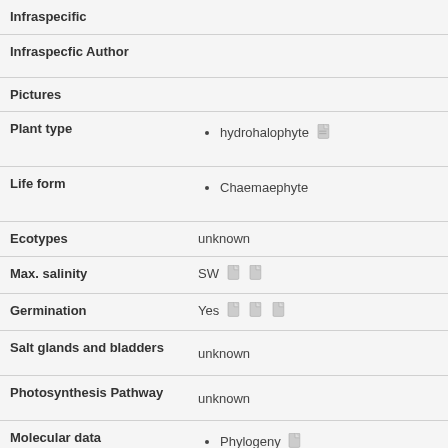| Field | Value |
| --- | --- |
| Infraspecific |  |
| Infraspecfic Author |  |
| Pictures |  |
| Plant type | hydrohalophyte [icon] |
| Life form | Chaemaephyte |
| Ecotypes | unknown |
| Max. salinity | SW [icons] |
| Germination | Yes [icons] |
| Salt glands and bladders | unknown |
| Photosynthesis Pathway | unknown |
| Molecular data | Phylogeny [icon]
Gene expression [icon] |
| Microbial interactions and |  |